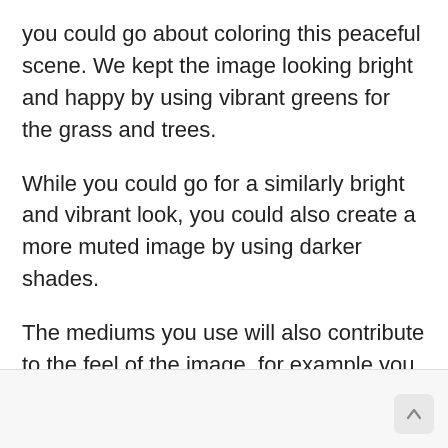you could go about coloring this peaceful scene. We kept the image looking bright and happy by using vibrant greens for the grass and trees.
While you could go for a similarly bright and vibrant look, you could also create a more muted image by using darker shades.
The mediums you use will also contribute to the feel of the image, for example you could use some watercolors for milder colors or mediums such as acrylic paints for more vibrant tones.